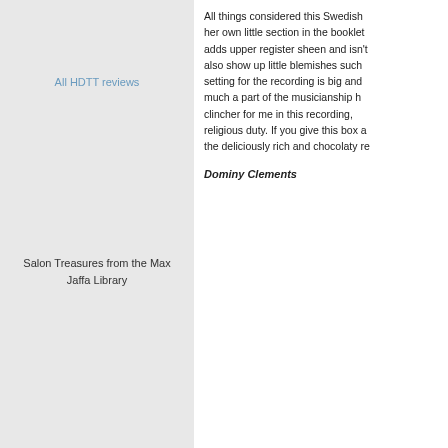All things considered this Swedish ... her own little section in the booklet ... adds upper register sheen and isn't ... also show up little blemishes such ... setting for the recording is big and ... much a part of the musicianship h... clincher for me in this recording, ... religious duty. If you give this box a... the deliciously rich and chocolaty re...
Dominy Clements
All HDTT reviews
Salon Treasures from the Max Jaffa Library